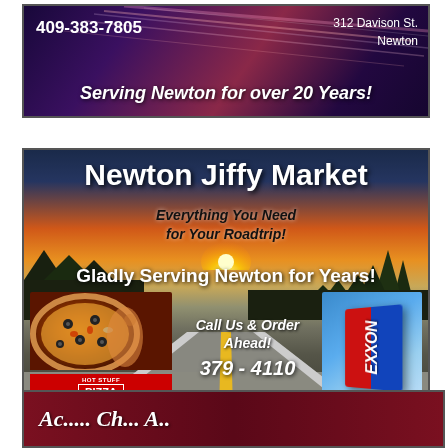[Figure (infographic): Top advertisement with dark purple/red gradient background with light streaks. Shows phone number 409-383-7805, address 312 Davison St. Newton, and tagline 'Serving Newton for over 20 Years!']
[Figure (infographic): Newton Jiffy Market advertisement with road/sunset background. Title: Newton Jiffy Market. Subtitle: Everything You Need for Your Roadtrip! Tagline: Gladly Serving Newton for Years! Shows pizza image with Hot Stuff Pizza logo, phone number 379-4110, Call Us & Order Ahead text, and Exxon logo.]
[Figure (infographic): Partial bottom advertisement with dark red/maroon background, partially visible text.]